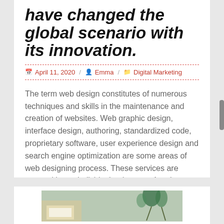have changed the global scenario with its innovation.
April 11, 2020 / Emma / Digital Marketing
The term web design constitutes of numerous techniques and skills in the maintenance and creation of websites. Web graphic design, interface design, authoring, standardized code, proprietary software, user experience design and search engine optimization are some areas of web designing process. These services are covered by an individual or in team. A web design service [...]
[Figure (photo): Partial view of a second blog card with a photo showing a desk scene with plants]